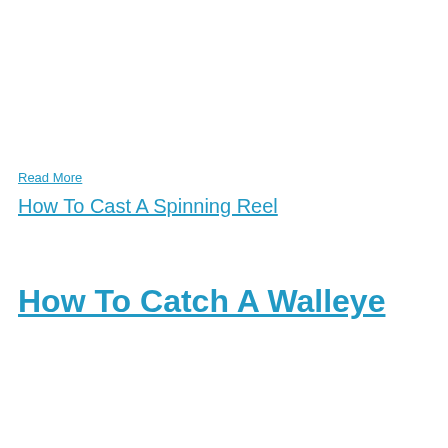Read More
How To Cast A Spinning Reel
How To Catch A Walleye